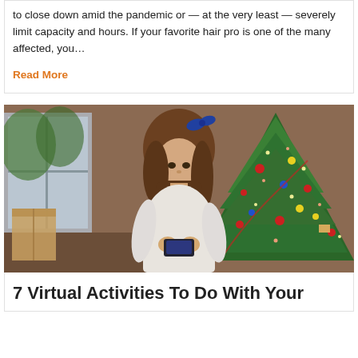to close down amid the pandemic or — at the very least — severely limit capacity and hours. If your favorite hair pro is one of the many affected, you…
Read More
[Figure (photo): A young girl with long hair and a blue bow, wearing a white sweater, looking at a smartphone, standing in front of a decorated Christmas tree with colorful ornaments and lights.]
7 Virtual Activities To Do With Your